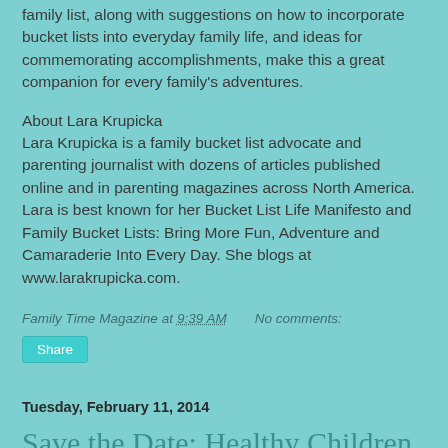family list, along with suggestions on how to incorporate bucket lists into everyday family life, and ideas for commemorating accomplishments, make this a great companion for every family's adventures.
About Lara Krupicka
Lara Krupicka is a family bucket list advocate and parenting journalist with dozens of articles published online and in parenting magazines across North America. Lara is best known for her Bucket List Life Manifesto and Family Bucket Lists: Bring More Fun, Adventure and Camaraderie Into Every Day. She blogs at www.larakrupicka.com.
Family Time Magazine at 9:39 AM   No comments:
Share
Tuesday, February 11, 2014
Save the Date: Healthy Children Conference and Expo Comes to Rosemont,